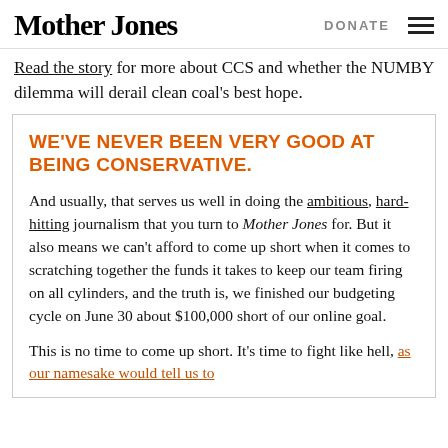Mother Jones  DONATE
Read the story for more about CCS and whether the NUMBY dilemma will derail clean coal's best hope.
WE'VE NEVER BEEN VERY GOOD AT BEING CONSERVATIVE.
And usually, that serves us well in doing the ambitious, hard-hitting journalism that you turn to Mother Jones for. But it also means we can't afford to come up short when it comes to scratching together the funds it takes to keep our team firing on all cylinders, and the truth is, we finished our budgeting cycle on June 30 about $100,000 short of our online goal.
This is no time to come up short. It's time to fight like hell, as our namesake would tell us to do. So please, donate now, it's about more t